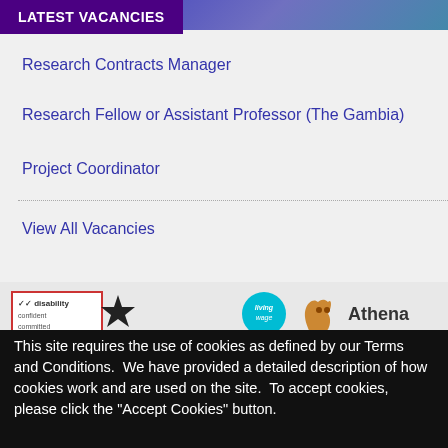LATEST VACANCIES
Research Contracts Manager
Research Fellow or Assistant Professor (The Gambia)
Project Coordinator
View All Vacancies
[Figure (logo): Row of logos: disability confident, star logo, living wage circle, Athena swan fox]
This site requires the use of cookies as defined by our Terms and Conditions.  We have provided a detailed description of how cookies work and are used on the site.  To accept cookies, please click the "Accept Cookies" button.
Accept Cookies